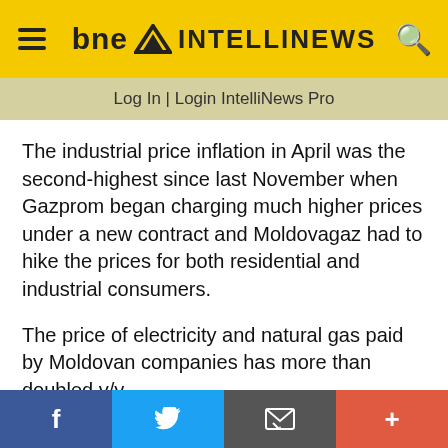bne INTELLINEWS
Log In | Login IntelliNews Pro
The industrial price inflation in April was the second-highest since last November when Gazprom began charging much higher prices under a new contract and Moldovagaz had to hike the prices for both residential and industrial consumers.
The price of electricity and natural gas paid by Moldovan companies has more than doubled y/y
We use cookies to ensure that we give you the best experience on our website. If you continue we'll assume that you are happy to receive all cookies from this website. Accept  View Cookie Policy
f  Twitter  Email  +